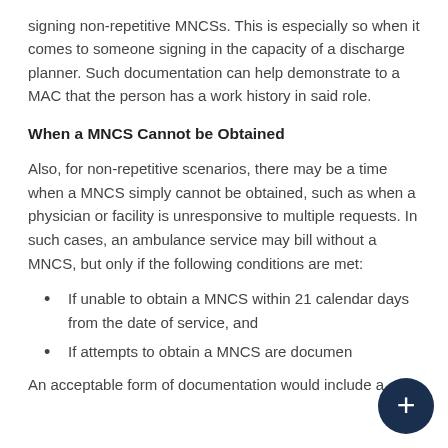signing non-repetitive MNCSs. This is especially so when it comes to someone signing in the capacity of a discharge planner. Such documentation can help demonstrate to a MAC that the person has a work history in said role.
When a MNCS Cannot be Obtained
Also, for non-repetitive scenarios, there may be a time when a MNCS simply cannot be obtained, such as when a physician or facility is unresponsive to multiple requests. In such cases, an ambulance service may bill without a MNCS, but only if the following conditions are met:
If unable to obtain a MNCS within 21 calendar days from the date of service, and
If attempts to obtain a MNCS are documented
An acceptable form of documentation would include a